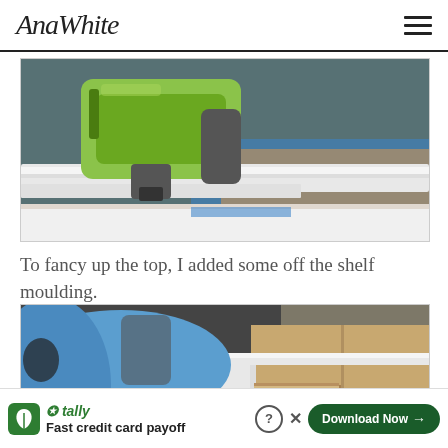AnaWhite
[Figure (photo): Close-up of a nail gun (green Ryobi brad nailer) being used to attach white moulding trim to a wooden cabinet or bench top, with blue tape visible on the workshop floor below.]
To fancy up the top, I added some off the shelf moulding.
[Figure (photo): A woman in a blue long-sleeve shirt leaning over a wooden cabinet/bench, pressing white moulding trim into place on the top edge, with wood compartments visible inside.]
Fast credit card payoff